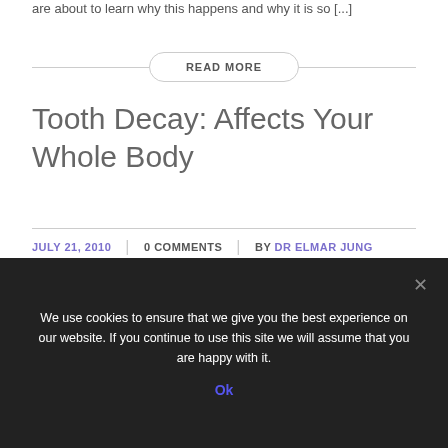are about to learn why this happens and why it is so [...]
READ MORE
Tooth Decay: Affects Your Whole Body
JULY 21, 2010 | 0 COMMENTS | BY DR ELMAR JUNG
Chapter 2 . Tooth Decay: Affects Your Whole Body . Is it
We use cookies to ensure that we give you the best experience on our website. If you continue to use this site we will assume that you are happy with it.
Ok